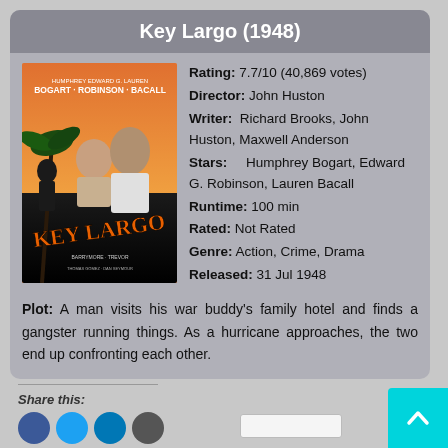Key Largo (1948)
[Figure (illustration): Movie poster for Key Largo (1948) featuring Bogart, Robinson, Bacall in a classic film noir style with orange and dark tones]
Rating: 7.7/10 (40,869 votes)
Director: John Huston
Writer: Richard Brooks, John Huston, Maxwell Anderson
Stars: Humphrey Bogart, Edward G. Robinson, Lauren Bacall
Runtime: 100 min
Rated: Not Rated
Genre: Action, Crime, Drama
Released: 31 Jul 1948
Plot: A man visits his war buddy's family hotel and finds a gangster running things. As a hurricane approaches, the two end up confronting each other.
Share this: